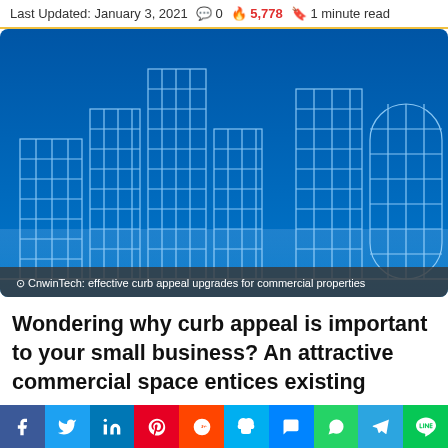Last Updated: January 3, 2021  0  5,778  1 minute read
[Figure (illustration): Wireframe 3D render of modern city skyscrapers on a blue background, with caption: CnwinTech: effective curb appeal upgrades for commercial properties]
Wondering why curb appeal is important to your small business? An attractive commercial space entices existing